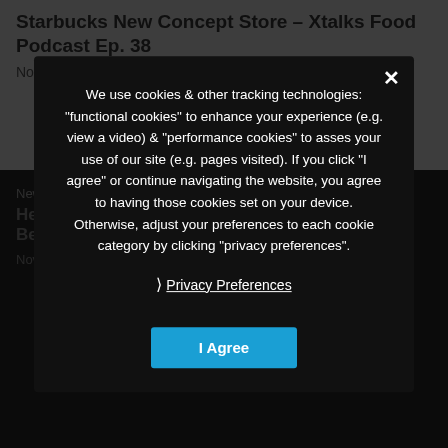Starbucks New Concept Store – Xtalks Food Podcast Ep. 38
November 25, 2021
News
Here are the Food Companies that Made TIME's Best 100 Inventions of 2021 List
November 19, 2021
We use cookies & other tracking technologies: "functional cookies" to enhance your experience (e.g. view a video) & "performance cookies" to asses your use of our site (e.g. pages visited). If you click "I agree" or continue navigating the website, you agree to having those cookies set on your device. Otherwise, adjust your preferences to each cookie category by clicking "privacy preferences".
Privacy Preferences
I Agree